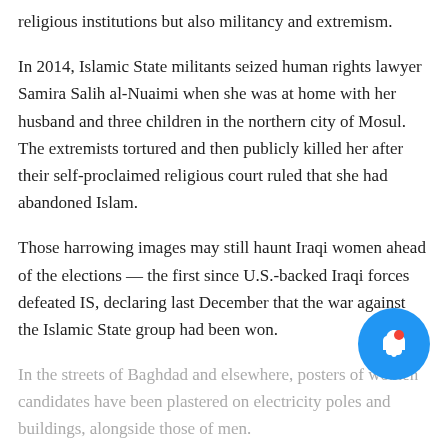religious institutions but also militancy and extremism.
In 2014, Islamic State militants seized human rights lawyer Samira Salih al-Nuaimi when she was at home with her husband and three children in the northern city of Mosul. The extremists tortured and then publicly killed her after their self-proclaimed religious court ruled that she had abandoned Islam.
Those harrowing images may still haunt Iraqi women ahead of the elections — the first since U.S.-backed Iraqi forces defeated IS, declaring last December that the war against the Islamic State group had been won.
In the streets of Baghdad and elsewhere, posters of women candidates have been plastered on electricity poles and buildings, alongside those of men.